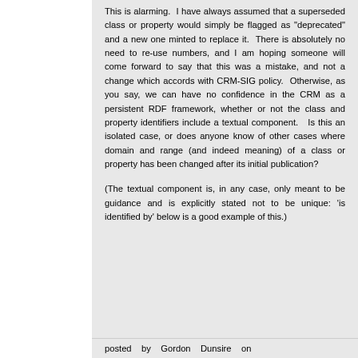This is alarming. I have always assumed that a superseded class or property would simply be flagged as "deprecated" and a new one minted to replace it. There is absolutely no need to re-use numbers, and I am hoping someone will come forward to say that this was a mistake, and not a change which accords with CRM-SIG policy. Otherwise, as you say, we can have no confidence in the CRM as a persistent RDF framework, whether or not the class and property identifiers include a textual component. Is this an isolated case, or does anyone know of other cases where domain and range (and indeed meaning) of a class or property has been changed after its initial publication?
(The textual component is, in any case, only meant to be guidance and is explicitly stated not to be unique: 'is identified by' below is a good example of this.)
posted by Gordon Dunsire on